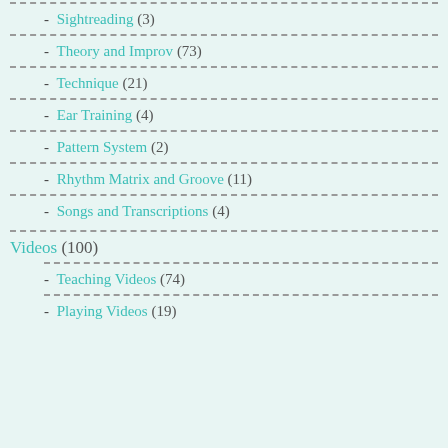- Sightreading (3)
- Theory and Improv (73)
- Technique (21)
- Ear Training (4)
- Pattern System (2)
- Rhythm Matrix and Groove (11)
- Songs and Transcriptions (4)
Videos (100)
- Teaching Videos (74)
- Playing Videos (19)